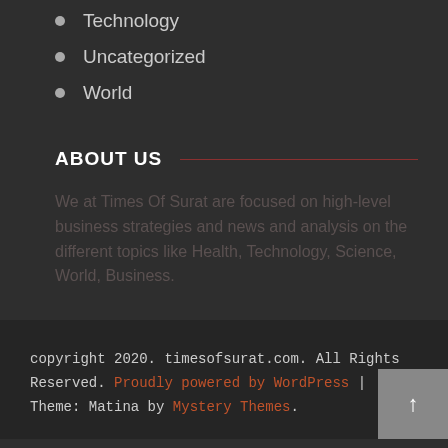Technology
Uncategorized
World
ABOUT US
We at Times Of Surat are focused on high-level business strategies and news and analysis on the different topics like Health, Technology, Science, World, Business.
copyright 2020. timesofsurat.com. All Rights Reserved. Proudly powered by WordPress | Theme: Matina by Mystery Themes.